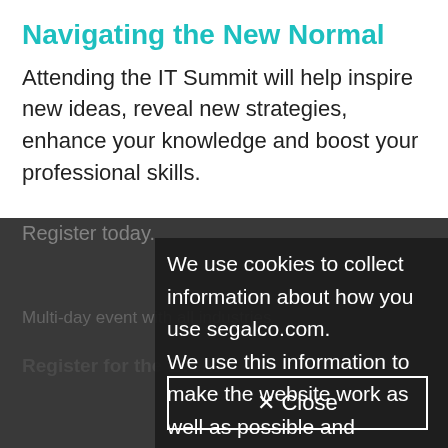Navigating the New Normal
Attending the IT Summit will help inspire new ideas, reveal new strategies, enhance your knowledge and boost your professional skills.
Register today.
Multi-day event with all industries
Register for the Event
We use cookies to collect information about how you use segalco.com. We use this information to make the website work as well as possible and improve our offering to you.
✕ Close